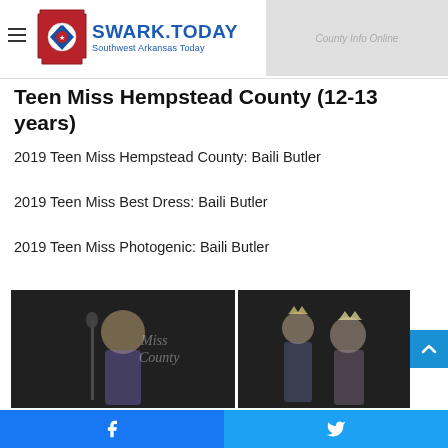SWARK.TODAY Southwest Arkansas Today
Teen Miss Hempstead County (12-13 years)
2019 Teen Miss Hempstead County: Baili Butler
2019 Teen Miss Best Dress: Baili Butler
2019 Teen Miss Photogenic: Baili Butler
[Figure (photo): Young woman in sequined dress speaking at microphone at Miss County pageant event]
[Figure (photo): Girls with crowns at pageant ceremony]
Facebook | Twitter social share bar